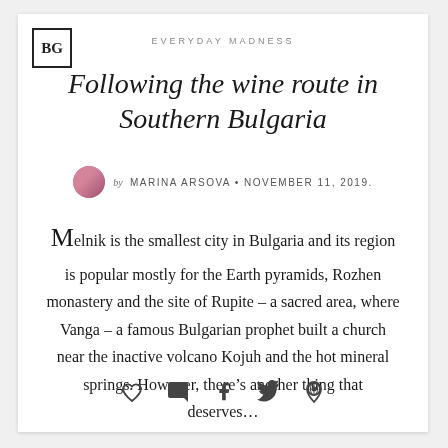EVERYDAY MADNESS
[Figure (logo): BG logo in a square border]
Following the wine route in Southern Bulgaria
by MARINA ARSOVA • NOVEMBER 11, 2019.
Melnik is the smallest city in Bulgaria and its region is popular mostly for the Earth pyramids, Rozhen monastery and the site of Rupite – a sacred area, where Vanga – a famous Bulgarian prophet built a church near the inactive volcano Kojuh and the hot mineral springs. However, there's another thing that deserves...
[Figure (infographic): Social sharing icons: heart, comment, Facebook, Twitter, Pinterest]